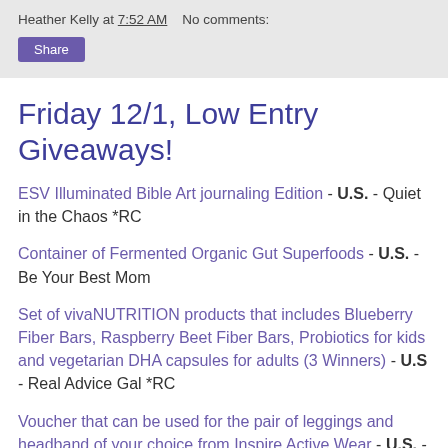Heather Kelly at 7:52 AM   No comments:
Friday 12/1, Low Entry Giveaways!
ESV Illuminated Bible Art journaling Edition - U.S. - Quiet in the Chaos *RC
Container of Fermented Organic Gut Superfoods - U.S. - Be Your Best Mom
Set of vivaNUTRITION products that includes Blueberry Fiber Bars, Raspberry Beet Fiber Bars, Probiotics for kids and vegetarian DHA capsules for adults (3 Winners) - U.S - Real Advice Gal *RC
Voucher that can be used for the pair of leggings and headband of your choice from Inspire Active Wear - U.S. - Green Chic Life *IG